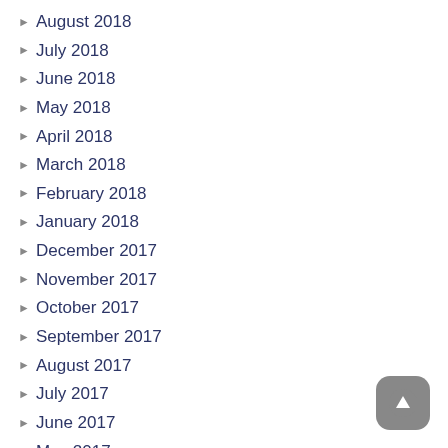August 2018
July 2018
June 2018
May 2018
April 2018
March 2018
February 2018
January 2018
December 2017
November 2017
October 2017
September 2017
August 2017
July 2017
June 2017
May 2017
April 2017
March 2017
February 2017
January 2017
December 2016
November 2016
October 2016